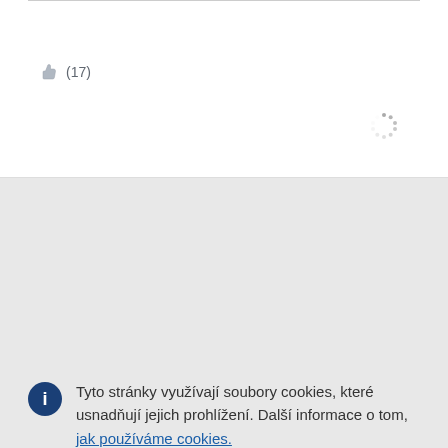[Figure (other): Thumbs up like icon with count (17)]
[Figure (other): Loading spinner icon in top-right area of white card]
Tyto stránky využívají soubory cookies, které usnadňují jejich prohlížení. Další informace o tom, jak používáme cookies.
Přijmout všechny soubory cookies
Přijmout pouze základní soubory cookies